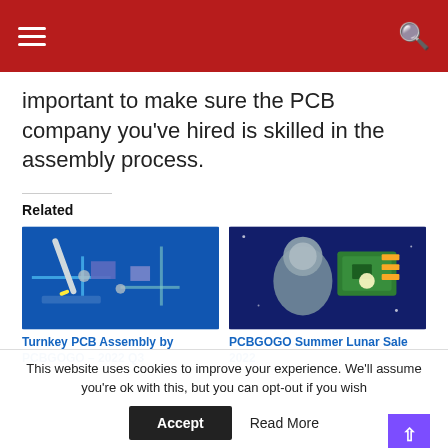Navigation bar with hamburger menu and search icon
important to make sure the PCB company you've hired is skilled in the assembly process.
Related
[Figure (photo): Close-up photo of a PCB being worked on with a tool, blue tinted circuit board]
Turnkey PCB Assembly by PCBGOGO – 2022 Q3
[Figure (photo): Person in spacesuit holding green PCB circuit board with gold connectors]
PCBGOGO Summer Lunar Sale 2022
This website uses cookies to improve your experience. We'll assume you're ok with this, but you can opt-out if you wish
Accept   Read More